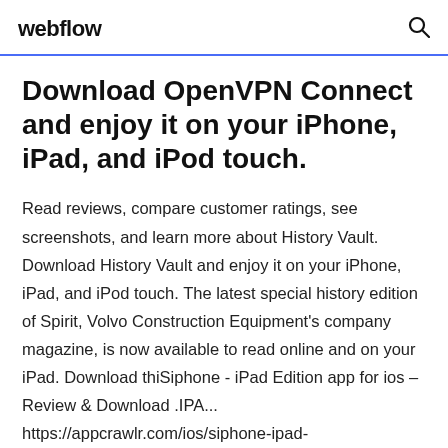webflow
Download OpenVPN Connect and enjoy it on your iPhone, iPad, and iPod touch.
Read reviews, compare customer ratings, see screenshots, and learn more about History Vault. Download History Vault and enjoy it on your iPhone, iPad, and iPod touch. The latest special history edition of Spirit, Volvo Construction Equipment's company magazine, is now available to read online and on your iPad. Download thiSiphone - iPad Edition app for ios – Review & Download .IPA... https://appcrawlr.com/ios/siphone-ipad-edition